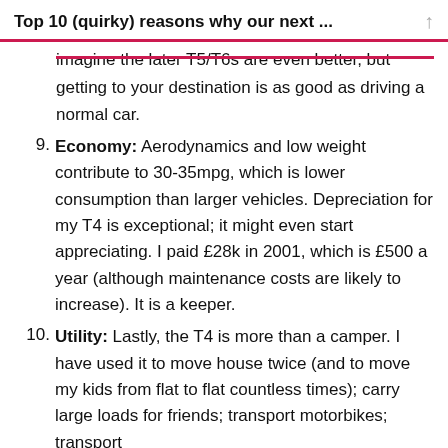Top 10 (quirky) reasons why our next ...
imagine the later T5/T6s are even better, but getting to your destination is as good as driving a normal car.
9. Economy: Aerodynamics and low weight contribute to 30-35mpg, which is lower consumption than larger vehicles. Depreciation for my T4 is exceptional; it might even start appreciating. I paid £28k in 2001, which is £500 a year (although maintenance costs are likely to increase). It is a keeper.
10. Utility: Lastly, the T4 is more than a camper. I have used it to move house twice (and to move my kids from flat to flat countless times); carry large loads for friends; transport motorbikes; transport